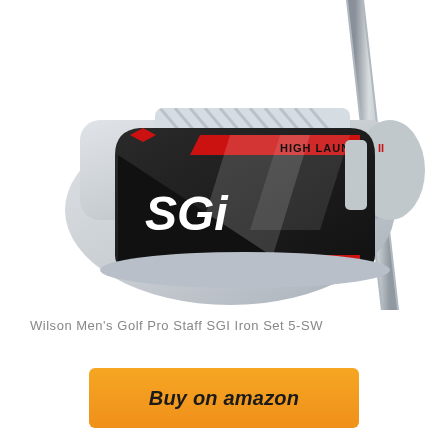[Figure (photo): Wilson Men's Golf Pro Staff SGI Iron Set club head, silver/chrome finish with black face insert labeled 'SGi' in white text and 'HIGH LAUNCH II' in red and black text, with red accent lines. The club shaft is visible on the right side.]
Wilson Men's Golf Pro Staff SGI Iron Set 5-SW
[Figure (other): Orange/yellow gradient 'Buy on amazon' button]